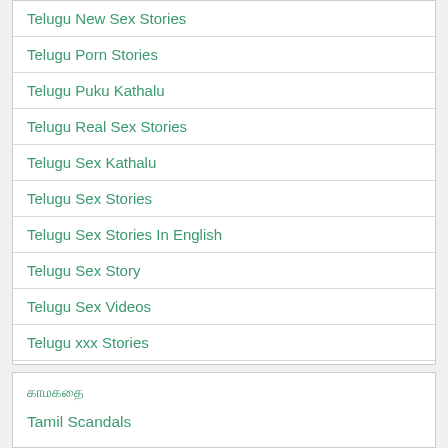Telugu New Sex Stories
Telugu Porn Stories
Telugu Puku Kathalu
Telugu Real Sex Stories
Telugu Sex Kathalu
Telugu Sex Stories
Telugu Sex Stories In English
Telugu Sex Story
Telugu Sex Videos
Telugu xxx Stories
Virgin Sex Stories Telugu
காமகதை
Tamil Scandals